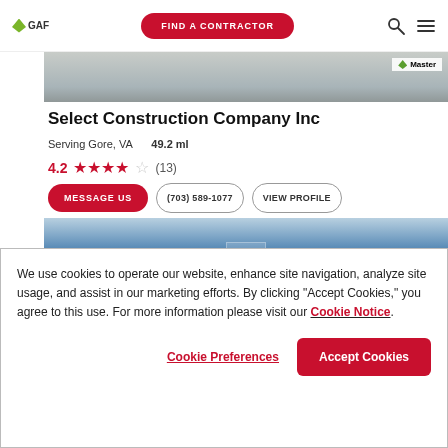GAF | FIND A CONTRACTOR
[Figure (photo): Partial roofing photo with Master Elite badge visible in top right corner]
Select Construction Company Inc
Serving Gore, VA   49.2 ml
4.2 ★★★★☆ (13)
MESSAGE US | (703) 589-1077 | VIEW PROFILE
[Figure (photo): Building photo with blue sky background]
We use cookies to operate our website, enhance site navigation, analyze site usage, and assist in our marketing efforts. By clicking "Accept Cookies," you agree to this use. For more information please visit our Cookie Notice.
Cookie Preferences | Accept Cookies